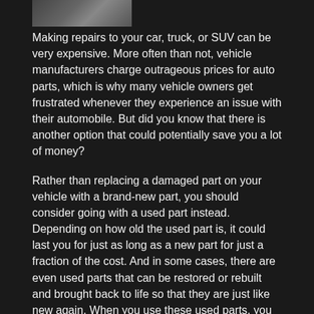[Figure (photo): Partial photo thumbnail at top of page, showing a person near a vehicle/car interior, cropped]
Making repairs to your car, truck, or SUV can be very expensive. More often than not, vehicle manufacturers charge outrageous prices for auto parts, which is why many vehicle owners get frustrated whenever they experience an issue with their automobile. But did you know that there is another option that could potentially save you a lot of money?
Rather than replacing a damaged part on your vehicle with a brand-new part, you should consider going with a used part instead. Depending on how old the used part is, it could last you for just as long as a new part for just a fraction of the cost. And in some cases, there are even used parts that can be restored or rebuilt and brought back to life so that they are just like new again. When you use these used parts, you will get the same kind of performance that you would from a new part without spending a ridiculous amount of money on it.